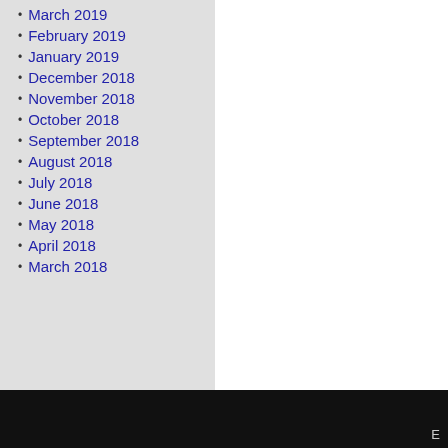March 2019
February 2019
January 2019
December 2018
November 2018
October 2018
September 2018
August 2018
July 2018
June 2018
May 2018
April 2018
March 2018
E